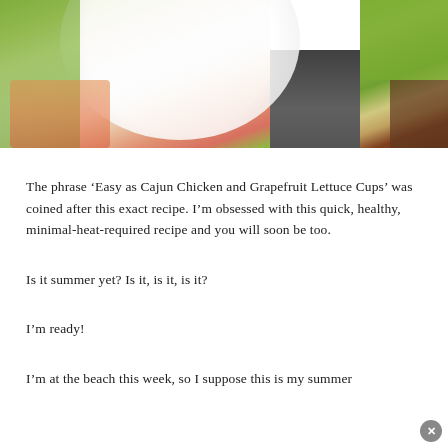[Figure (photo): Food photo collage showing Cajun Chicken and Grapefruit Lettuce Cups on a white plate with green lettuce wraps, grapefruit, and a dark wooden board in the center]
The phrase ‘Easy as Cajun Chicken and Grapefruit Lettuce Cups’ was coined after this exact recipe. I’m obsessed with this quick, healthy, minimal-heat-required recipe and you will soon be too.
Is it summer yet? Is it, is it, is it?
I’m ready!
I’m at the beach this week, so I suppose this is my summer